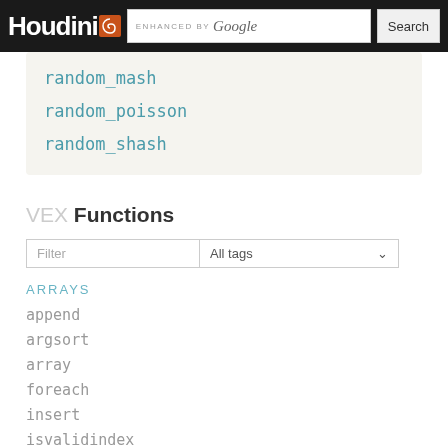Houdini [logo] | ENHANCED BY Google [Search]
random_mash
random_poisson
random_shash
VEX Functions
Filter | All tags
ARRAYS
append
argsort
array
foreach
insert
isvalidindex